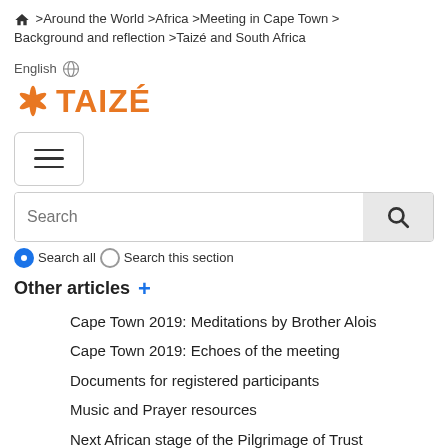🏠 >Around the World >Africa >Meeting in Cape Town >Background and reflection >Taizé and South Africa
English 🌐
[Figure (logo): Taizé logo with orange star/asterisk icon and TAIZÉ text in orange]
[Figure (screenshot): Hamburger menu button with three horizontal lines]
[Figure (screenshot): Search bar with magnifying glass button]
⦿ Search all ○ Search this section
Other articles +
Cape Town 2019: Meditations by Brother Alois
Cape Town 2019: Echoes of the meeting
Documents for registered participants
Music and Prayer resources
Next African stage of the Pilgrimage of Trust